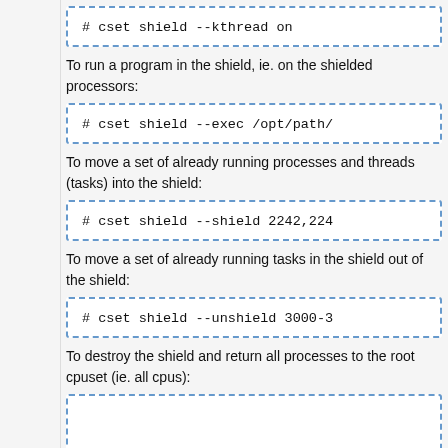To run a program in the shield, ie. on the shielded processors:
To move a set of already running processes and threads (tasks) into the shield:
To move a set of already running tasks in the shield out of the shield:
To destroy the shield and return all processes to the root cpuset (ie. all cpus):